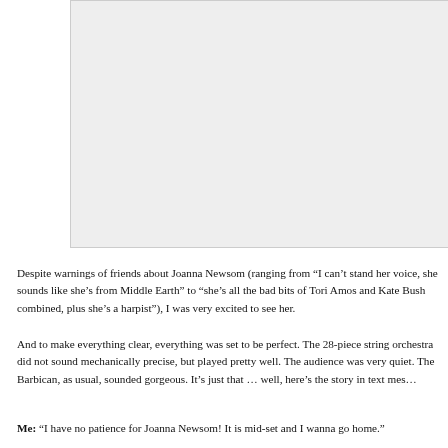[Figure (photo): A large light grey rectangle placeholder image area at the top of the page.]
Despite warnings of friends about Joanna Newsom (ranging from “I can’t stand her voice, she sounds like she’s from Middle Earth” to “she’s all the bad bits of Tori Amos and Kate Bush combined, plus she’s a harpist”), I was very excited to see her.
And to make everything clear, everything was set to be perfect. The 28-piece string orchestra did not sound mechanically precise, but played pretty well. The audience was very quiet. The Barbican, as usual, sounded gorgeous. It’s just that … well, here’s the story in text mes…
Me: “I have no patience for Joanna Newsom! It is mid-set and I wanna go home.”